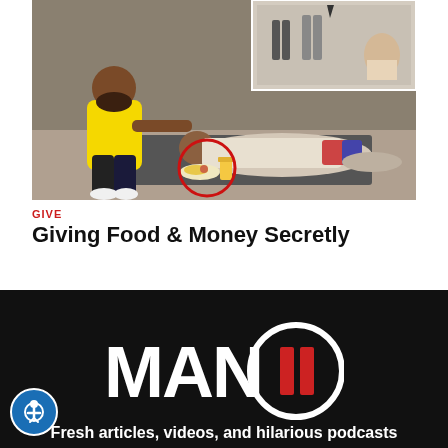[Figure (photo): A man in a yellow shirt giving food and drink to a homeless person lying on the ground. A red circle highlights the food/drink being given. Inset image shows another street scene from above.]
GIVE
Giving Food & Money Secretly
[Figure (logo): MAN PAUSE logo — bold white text 'MAN' next to a white circle with two red vertical bars (pause symbol) on black background]
Fresh articles, videos, and hilarious podcasts